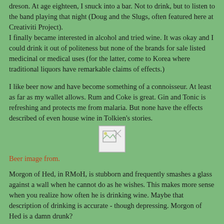dreson. At age eighteen, I snuck into a bar. Not to drink, but to listen to the band playing that night (Doug and the Slugs, often featured here at Creativiti Project). I finally became interested in alcohol and tried wine. It was okay and I could drink it out of politeness but none of the brands for sale listed medicinal or medical uses (for the latter, come to Korea where traditional liquors have remarkable claims of effects.)
I like beer now and have become something of a connoisseur. At least as far as my wallet allows. Rum and Coke is great. Gin and Tonic is refreshing and protects me from malaria. But none have the effects described of even house wine in Tolkien's stories.
[Figure (other): Broken/missing image placeholder showing a small image icon with a torn corner]
Beer image from.
Morgon of Hed, in RMoH, is stubborn and frequently smashes a glass against a wall when he cannot do as he wishes. This makes more sense when you realize how often he is drinking wine. Maybe that description of drinking is accurate - though depressing. Morgon of Hed is a damn drunk?
-
Everyone in the RMoH universe plays or loves to listen to the